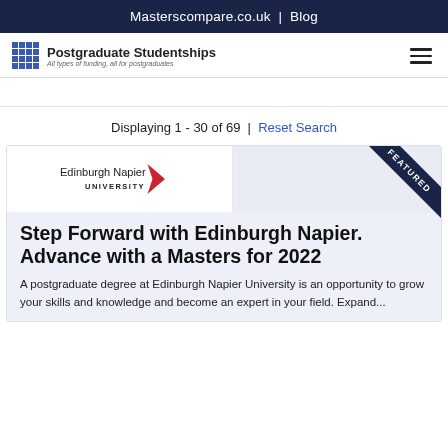Masterscompare.co.uk | Blog
[Figure (logo): Postgraduate Studentships logo with grid icon and tagline 'All types of funding, all for postgraduates']
Displaying 1 - 30 of 69 | Reset Search
[Figure (logo): Edinburgh Napier University logo with red arrow/chevron shape and 'FEATURED' corner ribbon banner]
Step Forward with Edinburgh Napier. Advance with a Masters for 2022
A postgraduate degree at Edinburgh Napier University is an opportunity to grow your skills and knowledge and become an expert in your field. Expand...